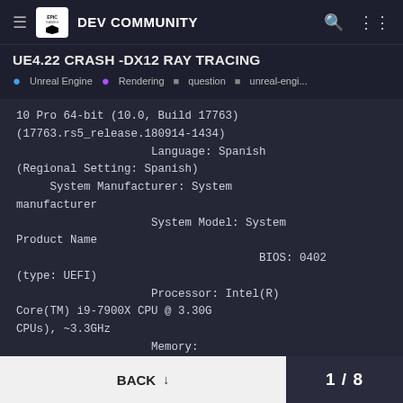Epic Games DEV COMMUNITY
UE4.22 CRASH -DX12 RAY TRACING
• Unreal Engine  • Rendering  ■ question  ■ unreal-engi...
10 Pro 64-bit (10.0, Build 17763) (17763.rs5_release.180914-1434)
                    Language: Spanish
(Regional Setting: Spanish)
     System Manufacturer: System manufacturer
                    System Model: System Product Name
                                    BIOS: 0402
(type: UEFI)
                    Processor: Intel(R) Core(TM) i9-7900X CPU @ 3.30G CPUs), ~3.3GHz
                    Memory:
BACK ↓   1/8